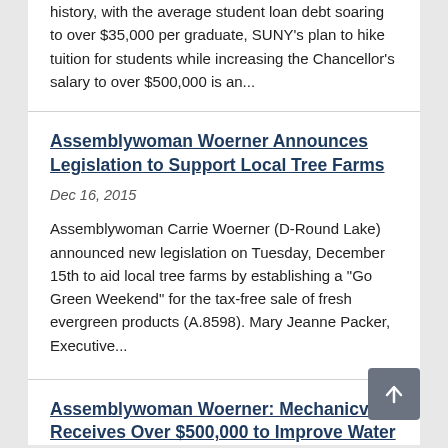history, with the average student loan debt soaring to over $35,000 per graduate, SUNY's plan to hike tuition for students while increasing the Chancellor's salary to over $500,000 is an...
Assemblywoman Woerner Announces Legislation to Support Local Tree Farms
Dec 16, 2015
Assemblywoman Carrie Woerner (D-Round Lake) announced new legislation on Tuesday, December 15th to aid local tree farms by establishing a "Go Green Weekend" for the tax-free sale of fresh evergreen products (A.8598). Mary Jeanne Packer, Executive...
Assemblywoman Woerner: Mechanicville Receives Over $500,000 to Improve Water